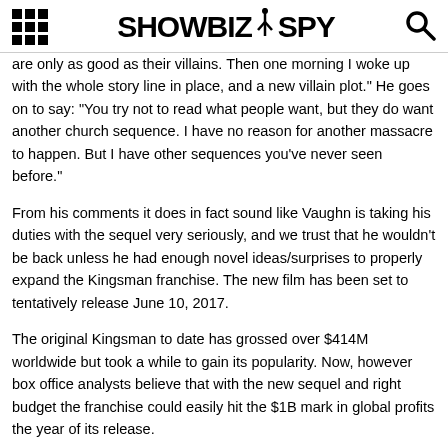SHOWBIZ SPY
are only as good as their villains. Then one morning I woke up with the whole story line in place, and a new villain plot.” He goes on to say: “You try not to read what people want, but they do want another church sequence. I have no reason for another massacre to happen. But I have other sequences you’ve never seen before.”
From his comments it does in fact sound like Vaughn is taking his duties with the sequel very seriously, and we trust that he wouldn’t be back unless he had enough novel ideas/surprises to properly expand the Kingsman franchise. The new film has been set to tentatively release June 10, 2017.
The original Kingsman to date has grossed over $414M worldwide but took a while to gain its popularity. Now, however box office analysts believe that with the new sequel and right budget the franchise could easily hit the $1B mark in global profits the year of its release.